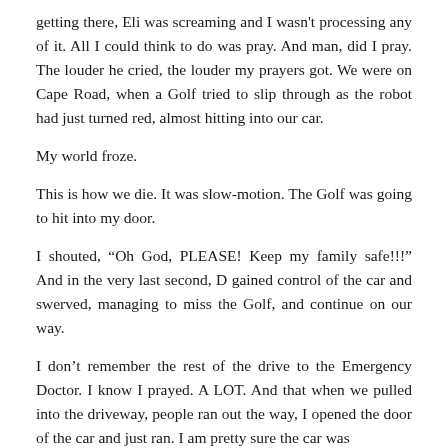getting there, Eli was screaming and I wasn't processing any of it. All I could think to do was pray. And man, did I pray. The louder he cried, the louder my prayers got. We were on Cape Road, when a Golf tried to slip through as the robot had just turned red, almost hitting into our car.
My world froze.
This is how we die. It was slow-motion. The Golf was going to hit into my door.
I shouted, “Oh God, PLEASE! Keep my family safe!!!” And in the very last second, D gained control of the car and swerved, managing to miss the Golf, and continue on our way.
I don’t remember the rest of the drive to the Emergency Doctor. I know I prayed. A LOT. And that when we pulled into the driveway, people ran out the way, I opened the door of the car and just ran. I am pretty sure the car was